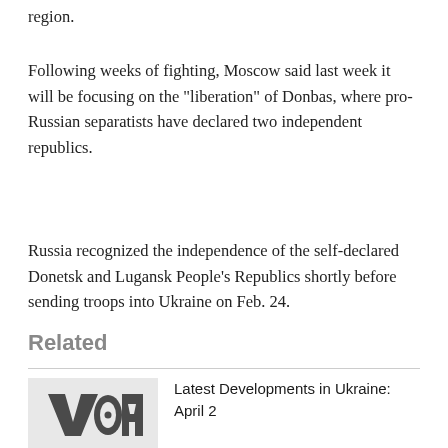region.
Following weeks of fighting, Moscow said last week it will be focusing on the "liberation" of Donbas, where pro-Russian separatists have declared two independent republics.
Russia recognized the independence of the self-declared Donetsk and Lugansk People's Republics shortly before sending troops into Ukraine on Feb. 24.
Related
Latest Developments in Ukraine: April 2